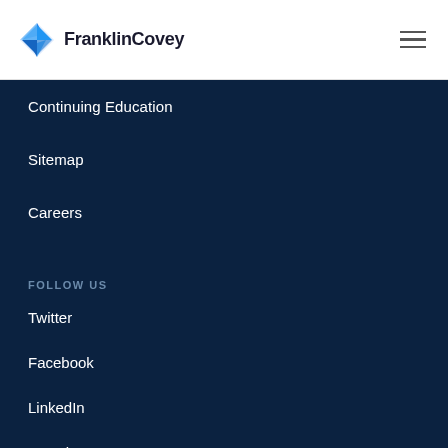[Figure (logo): FranklinCovey logo with blue compass/diamond icon and bold text 'FranklinCovey']
Continuing Education
Sitemap
Careers
FOLLOW US
Twitter
Facebook
LinkedIn
Youtube